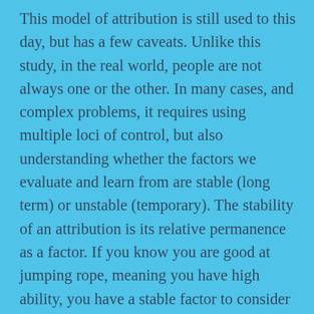This model of attribution is still used to this day, but has a few caveats. Unlike this study, in the real world, people are not always one or the other. In many cases, and complex problems, it requires using multiple loci of control, but also understanding whether the factors we evaluate and learn from are stable (long term) or unstable (temporary). The stability of an attribution is its relative permanence as a factor. If you know you are good at jumping rope, meaning you have high ability, you have a stable factor to consider your next success with. But, if you attribute jumping rope to how much effort your legs can put out, then the source of success is unstable—effort can vary and has to be renewed on each occasion or else it